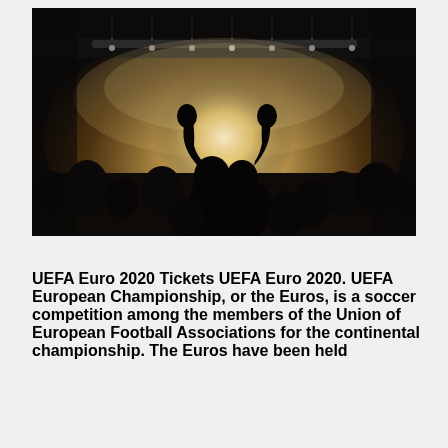[Figure (photo): Dark concert/event photo showing silhouettes of crowd with raised fists against bright stage lights and smoke in the background]
UEFA Euro 2020 Tickets UEFA Euro 2020. UEFA European Championship, or the Euros, is a soccer competition among the members of the Union of European Football Associations for the continental championship. The Euros have been held